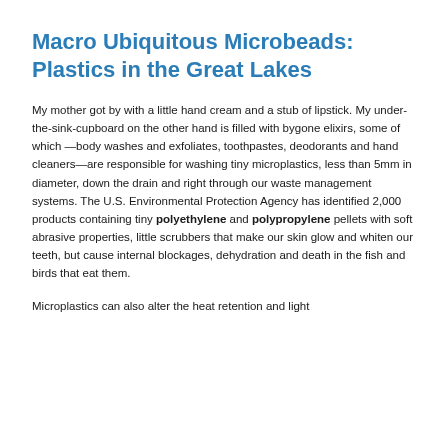Macro Ubiquitous Microbeads: Plastics in the Great Lakes
My mother got by with a little hand cream and a stub of lipstick. My under-the-sink-cupboard on the other hand is filled with bygone elixirs, some of which —body washes and exfoliates, toothpastes, deodorants and hand cleaners—are responsible for washing tiny microplastics, less than 5mm in diameter, down the drain and right through our waste management systems. The U.S. Environmental Protection Agency has identified 2,000 products containing tiny polyethylene and polypropylene pellets with soft abrasive properties, little scrubbers that make our skin glow and whiten our teeth, but cause internal blockages, dehydration and death in the fish and birds that eat them.
Microplastics can also alter the heat retention and light